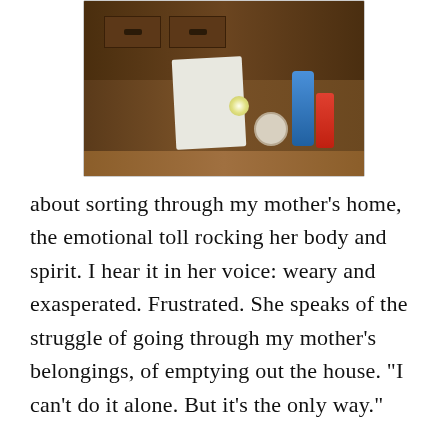[Figure (photo): Photo of a cluttered kitchen counter with wooden cabinets and drawers, various items including bottles and containers scattered on the surface]
about sorting through my mother’s home, the emotional toll rocking her body and spirit. I hear it in her voice: weary and exasperated. Frustrated. She speaks of the struggle of going through my mother’s belongings, of emptying out the house. “I can’t do it alone. But it’s the only way.”

“Your husband?” I ask hopefully. “Jennifer? Jill?”